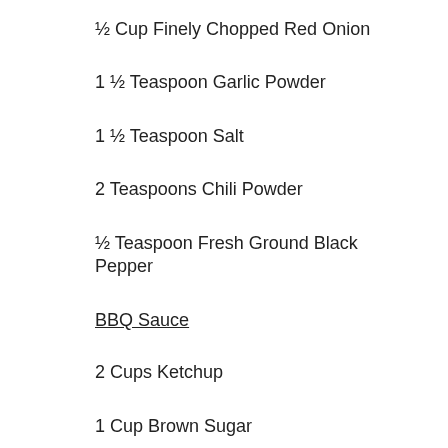½ Cup Finely Chopped Red Onion
1 ½ Teaspoon Garlic Powder
1 ½ Teaspoon Salt
2 Teaspoons Chili Powder
½ Teaspoon Fresh Ground Black Pepper
BBQ Sauce
2 Cups Ketchup
1 Cup Brown Sugar